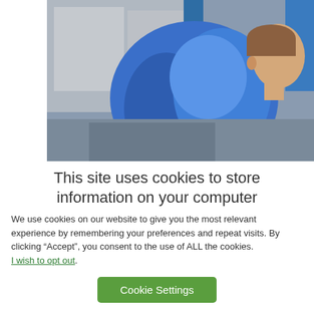[Figure (photo): A person wearing a blue work uniform/coveralls leaning forward, viewed from behind/side, in what appears to be an industrial or automotive workshop setting with blue structural elements visible in the background.]
This site uses cookies to store information on your computer
We use cookies on our website to give you the most relevant experience by remembering your preferences and repeat visits. By clicking “Accept”, you consent to the use of ALL the cookies. I wish to opt out.
Cookie Settings